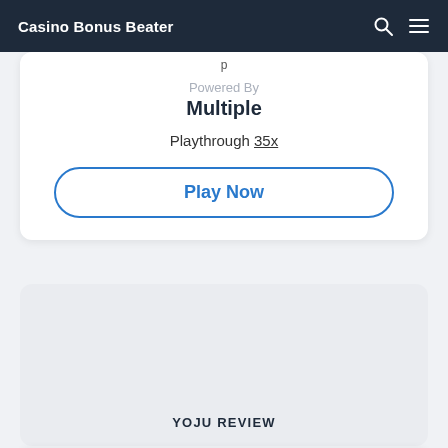Casino Bonus Beater
Powered By
Multiple
Playthrough 35x
Play Now
[Figure (other): YOJU casino logo placeholder image area (gray background card)]
YOJU REVIEW
Deposit Bonus
$100